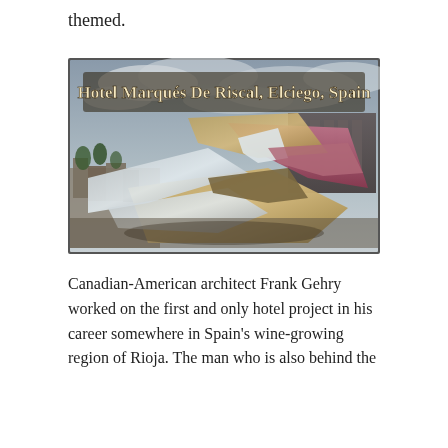themed.
[Figure (photo): Photograph of Hotel Marqués De Riscal in Elciego, Spain, showing the deconstructivist metallic ribbon architecture designed by Frank Gehry, with swooping titanium panels in gold, silver, and pink tones against a cloudy sky, with the town visible in the background. The image has an overlaid bold title text reading 'Hotel Marqués De Riscal, Elciego, Spain'.]
Canadian-American architect Frank Gehry worked on the first and only hotel project in his career somewhere in Spain's wine-growing region of Rioja. The man who is also behind the